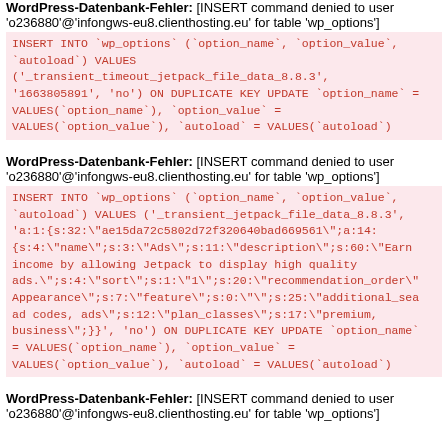WordPress-Datenbank-Fehler: [INSERT command denied to user 'o236880'@'infongws-eu8.clienthosting.eu' for table 'wp_options']
INSERT INTO `wp_options` (`option_name`, `option_value`, `autoload`) VALUES ('_transient_timeout_jetpack_file_data_8.8.3', '1663805891', 'no') ON DUPLICATE KEY UPDATE `option_name` = VALUES(`option_name`), `option_value` = VALUES(`option_value`), `autoload` = VALUES(`autoload`)
WordPress-Datenbank-Fehler: [INSERT command denied to user 'o236880'@'infongws-eu8.clienthosting.eu' for table 'wp_options']
INSERT INTO `wp_options` (`option_name`, `option_value`, `autoload`) VALUES ('_transient_jetpack_file_data_8.8.3', 'a:1:{s:32:"ae15da72c5802d72f320640bad669561";a:14:{s:4:"name";s:3:"Ads";s:11:"description";s:60:"Earn income by allowing Jetpack to display high quality ads.";s:4:"sort";s:1:"1";s:20:"recommendation_order";s:10:"Appearance";s:7:"feature";s:0:"";s:25:"additional_search_queries";s:21:"ad codes, ads";s:12:"plan_classes";s:17:"premium, business";}}', 'no') ON DUPLICATE KEY UPDATE `option_name` = VALUES(`option_name`), `option_value` = VALUES(`option_value`), `autoload` = VALUES(`autoload`)
WordPress-Datenbank-Fehler: [INSERT command denied to user 'o236880'@'infongws-eu8.clienthosting.eu' for table 'wp_options']